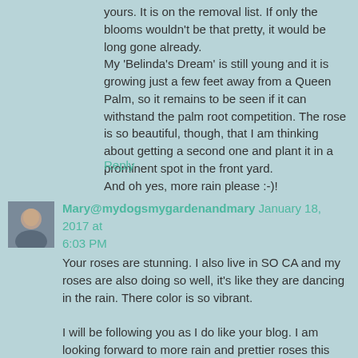yours. It is on the removal list. If only the blooms wouldn't be that pretty, it would be long gone already.
My 'Belinda's Dream' is still young and it is growing just a few feet away from a Queen Palm, so it remains to be seen if it can withstand the palm root competition. The rose is so beautiful, though, that I am thinking about getting a second one and plant it in a prominent spot in the front yard.
And oh yes, more rain please :-)!
Reply
Mary@mydogsmygardenandmary January 18, 2017 at 6:03 PM
Your roses are stunning. I also live in SO CA and my roses are also doing so well, it's like they are dancing in the rain. There color is so vibrant.

I will be following you as I do like your blog. I am looking forward to more rain and prettier roses this Spring.

Mary